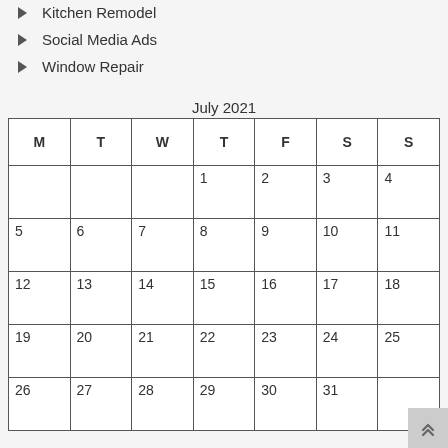Kitchen Remodel
Social Media Ads
Window Repair
July 2021
| M | T | W | T | F | S | S |
| --- | --- | --- | --- | --- | --- | --- |
|  |  |  | 1 | 2 | 3 | 4 |
| 5 | 6 | 7 | 8 | 9 | 10 | 11 |
| 12 | 13 | 14 | 15 | 16 | 17 | 18 |
| 19 | 20 | 21 | 22 | 23 | 24 | 25 |
| 26 | 27 | 28 | 29 | 30 | 31 |  |
« May   Aug »